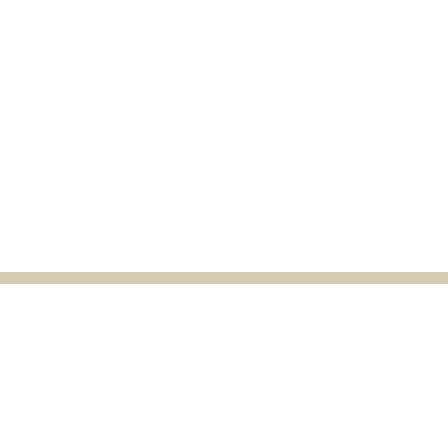Did you find this review helpful? You m
See all MER reviews for this title: Bou
See all MER reviews for this author: L
[Figure (photo): Book cover for Sanguinarian by Fyn Alexander, published by Siren Publishing. Shows a romantic/erotic cover with figures embracing. Red banner at top reads SIREN PUBLISHING. Author name Fyn Alexander and title Sanguinarian in red gothic text at bottom.]
Sanguinarian (MR
$5.99
Categories: Histori
This reviewer's ra
Excellent story line;
Add to cart
Reviewed by: Windy (Date: 09/18/20
Total reviews by this reviewer: 5 See
Did you find this review helpful? You m
See all MER reviews for this title: San
See all MER reviews for this author: F